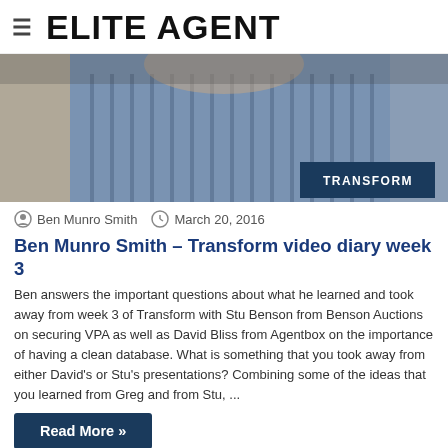ELITE AGENT
[Figure (photo): Photo of a man in a blue striped shirt, with a dark navy 'TRANSFORM' label in the bottom right corner of the image.]
Ben Munro Smith  March 20, 2016
Ben Munro Smith – Transform video diary week 3
Ben answers the important questions about what he learned and took away from week 3 of Transform with Stu Benson from Benson Auctions on securing VPA as well as David Bliss from Agentbox on the importance of having a clean database. What is something that you took away from either David's or Stu's presentations? Combining some of the ideas that you learned from Greg and from Stu, ...
Read More »